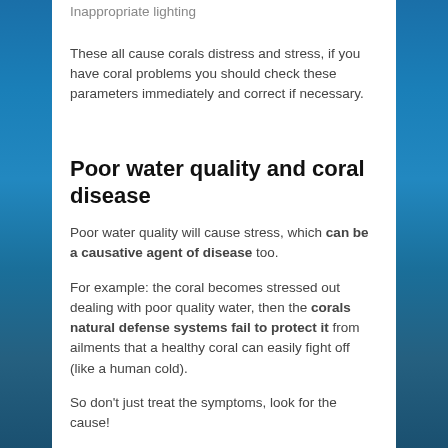Inappropriate lighting
These all cause corals distress and stress, if you have coral problems you should check these parameters immediately and correct if necessary.
Poor water quality and coral disease
Poor water quality will cause stress, which can be a causative agent of disease too.
For example: the coral becomes stressed out dealing with poor quality water, then the corals natural defense systems fail to protect it from ailments that a healthy coral can easily fight off (like a human cold).
So don't just treat the symptoms, look for the cause!
This is another reason a detailed water quality analysis